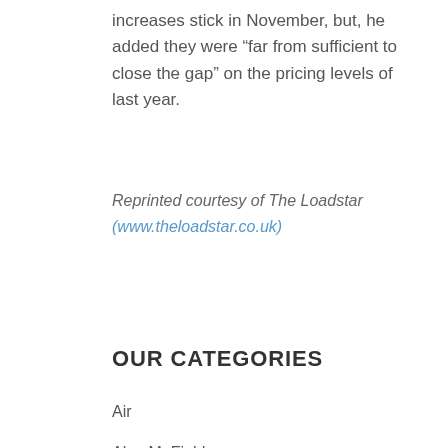increases stick in November, but, he added they were “far from sufficient to close the gap” on the pricing levels of last year.
Reprinted courtesy of The Loadstar (www.theloadstar.co.uk)
OUR CATEGORIES
Air
Alan M. Field
Alex Binkley
Brian Dunn
Bruce Striegler
Business and Economy
Corporate events & profiles
Education